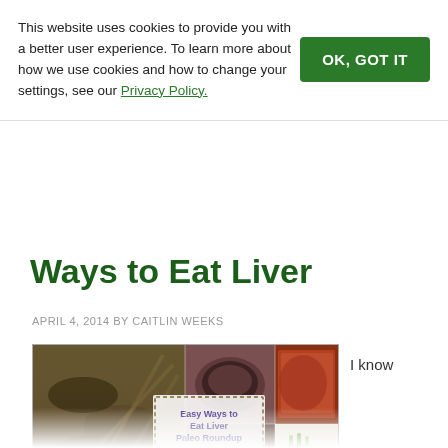This website uses cookies to provide you with a better user experience. To learn more about how we use cookies and how to change your settings, see our Privacy Policy.
OK, GOT IT
Ways to Eat Liver
APRIL 4, 2014 BY CAITLIN WEEKS
[Figure (photo): Collage of liver dishes including skewers, bowl of liver, glazed liver loaf, fried liver patties, and a bowl with dipping sauce. Center overlay text reads: Easy Ways to Eat Liver Paleo Roundup Grass Fed Girl. Watermark: memademommy.net]
I know
sometimes liver is hard to stomach but there are easy ways to eat liver, which is why I wrote this Paleo roundup post. I love liver and find the healthier the animal the more tasty it